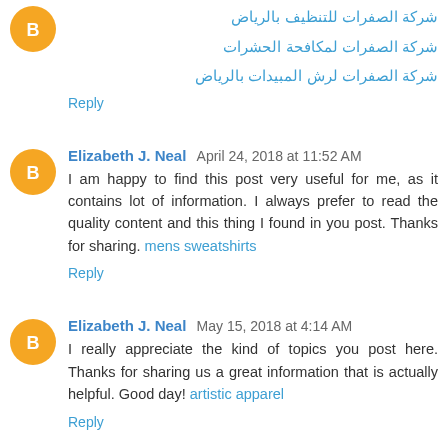شركة الصفرات للتنظيف بالرياض
شركة الصفرات لمكافحة الحشرات
شركة الصفرات لرش المبيدات بالرياض
Reply
Elizabeth J. Neal  April 24, 2018 at 11:52 AM
I am happy to find this post very useful for me, as it contains lot of information. I always prefer to read the quality content and this thing I found in you post. Thanks for sharing. mens sweatshirts
Reply
Elizabeth J. Neal  May 15, 2018 at 4:14 AM
I really appreciate the kind of topics you post here. Thanks for sharing us a great information that is actually helpful. Good day! artistic apparel
Reply